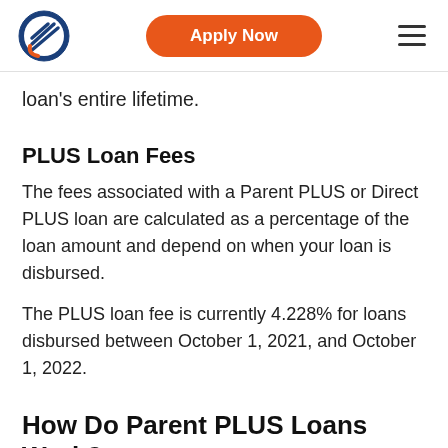[Logo] Apply Now [Menu]
loan's entire lifetime.
PLUS Loan Fees
The fees associated with a Parent PLUS or Direct PLUS loan are calculated as a percentage of the loan amount and depend on when your loan is disbursed.
The PLUS loan fee is currently 4.228% for loans disbursed between October 1, 2021, and October 1, 2022.
How Do Parent PLUS Loans Work?
Most schools require parents to submit the PLUS loan